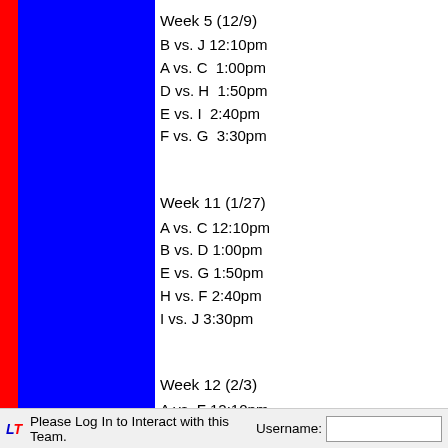Week 5 (12/9)
B vs. J 12:10pm
A vs. C  1:00pm
D vs. H  1:50pm
E vs. I  2:40pm
F vs. G  3:30pm
Week 11 (1/27)
A vs. C 12:10pm
B vs. D 1:00pm
E vs. G 1:50pm
H vs. F 2:40pm
I vs. J 3:30pm
Week 12 (2/3)
A vs. F 12:10pm
Please Log In to Interact with this Team. Username: